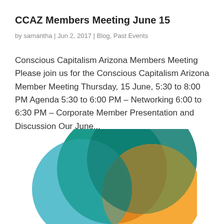CCAZ Members Meeting June 15
by samantha | Jun 2, 2017 | Blog, Past Events
Conscious Capitalism Arizona Members Meeting Please join us for the Conscious Capitalism Arizona Member Meeting Thursday, 15 June, 5:30 to 8:00 PM Agenda 5:30 to 6:00 PM – Networking 6:00 to 6:30 PM – Corporate Member Presentation and Discussion Our June...
[Figure (logo): Conscious Capitalism Arizona logo — overlapping circles in teal, light blue, orange, and dark teal forming a flower/venn pattern]